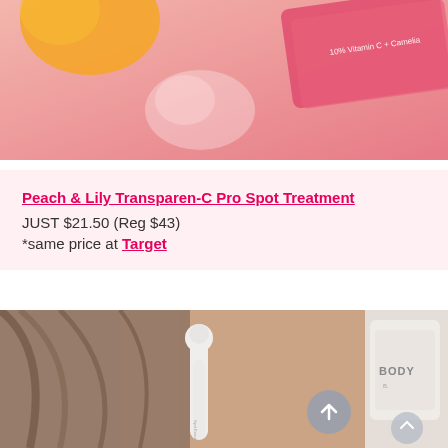[Figure (photo): Pink background with Peach & Lily skincare product (Vitamin C + Camelia) and orange citrus fruit]
Peach & Lily Transparen-C Pro Spot Treatment
JUST $21.50 (Reg $43)
*same price at Target
[Figure (photo): Person applying a white spot treatment pen applicator to their neck/jaw area, with long brown hair visible]
[Figure (photo): Partial view of a BODY product (skincare) with light packaging, partially cropped on right side]